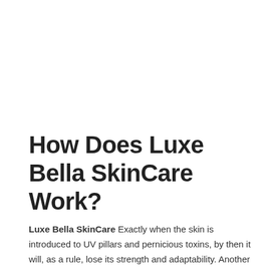How Does Luxe Bella SkinCare Work?
Luxe Bella SkinCare Exactly when the skin is introduced to UV pillars and pernicious toxins, by then it will, as a rule, lose its strength and adaptability. Another clarification behind losing adaptability in the skin is a direct result of the developing issue. Exactly when you will